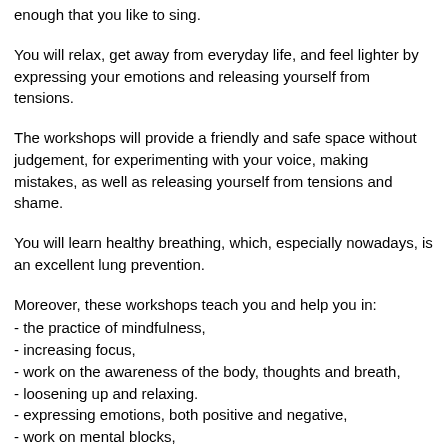enough that you like to sing.
You will relax, get away from everyday life, and feel lighter by expressing your emotions and releasing yourself from tensions.
The workshops will provide a friendly and safe space without judgement, for experimenting with your voice, making mistakes, as well as releasing yourself from tensions and shame.
You will learn healthy breathing, which, especially nowadays, is an excellent lung prevention.
Moreover, these workshops teach you and help you in:
- the practice of mindfulness,
- increasing focus,
- work on the awareness of the body, thoughts and breath,
- loosening up and relaxing.
- expressing emotions, both positive and negative,
- work on mental blocks,
- expressing what is difficult to express in words,
- getting rid of shame,
- opening the voice,
- building self-confidence and self-trust,